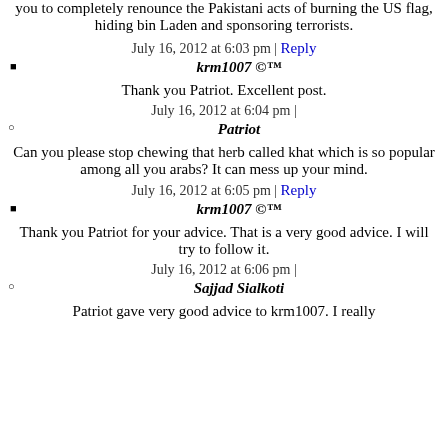you to completely renounce the Pakistani acts of burning the US flag, hiding bin Laden and sponsoring terrorists.
July 16, 2012 at 6:03 pm | Reply
krm1007 ©™
Thank you Patriot. Excellent post.
July 16, 2012 at 6:04 pm |
Patriot
Can you please stop chewing that herb called khat which is so popular among all you arabs? It can mess up your mind.
July 16, 2012 at 6:05 pm | Reply
krm1007 ©™
Thank you Patriot for your advice. That is a very good advice. I will try to follow it.
July 16, 2012 at 6:06 pm |
Sajjad Sialkoti
Patriot gave very good advice to krm1007. I really